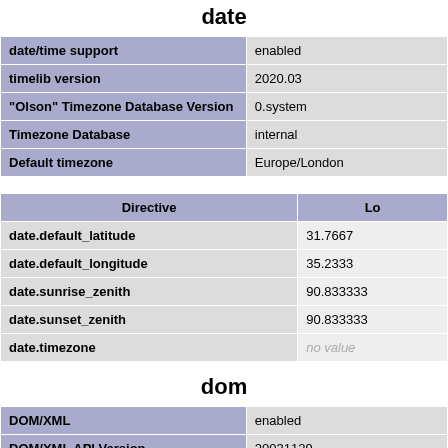date
|  |  |
| --- | --- |
| date/time support | enabled |
| timelib version | 2020.03 |
| "Olson" Timezone Database Version | 0.system |
| Timezone Database | internal |
| Default timezone | Europe/London |
| Directive | Lo |
| --- | --- |
| date.default_latitude | 31.7667 |
| date.default_longitude | 35.2333 |
| date.sunrise_zenith | 90.833333 |
| date.sunset_zenith | 90.833333 |
| date.timezone | no value |
dom
|  |  |
| --- | --- |
| DOM/XML | enabled |
| DOM/XML API Version | 20031129 |
| libxml Version | 2.9.14 |
| HTML Support | enabled |